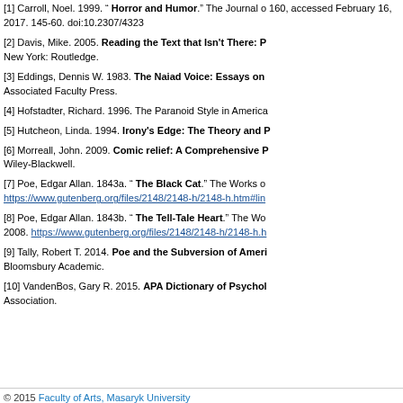[1] Carroll, Noel. 1999. " Horror and Humor." The Journal of... 160, accessed February 16, 2017. 145-60. doi:10.2307/4323...
[2] Davis, Mike. 2005. Reading the Text that Isn't There: P... New York: Routledge.
[3] Eddings, Dennis W. 1983. The Naiad Voice: Essays on... Associated Faculty Press.
[4] Hofstadter, Richard. 1996. The Paranoid Style in America...
[5] Hutcheon, Linda. 1994. Irony's Edge: The Theory and P...
[6] Morreall, John. 2009. Comic relief: A Comprehensive P... Wiley-Blackwell.
[7] Poe, Edgar Allan. 1843a. " The Black Cat." The Works o... https://www.gutenberg.org/files/2148/2148-h/2148-h.htm#lin...
[8] Poe, Edgar Allan. 1843b. " The Tell-Tale Heart." The Wo... 2008. https://www.gutenberg.org/files/2148/2148-h/2148-h.h...
[9] Tally, Robert T. 2014. Poe and the Subversion of Ameri... Bloomsbury Academic.
[10] VandenBos, Gary R. 2015. APA Dictionary of Psycholo... Association.
© 2015 Faculty of Arts, Masaryk University